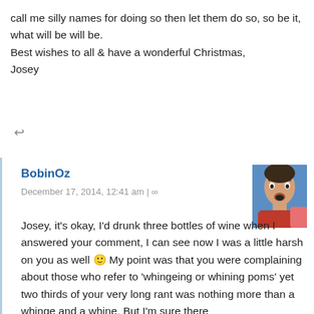call me silly names for doing so then let them do so, so be it, what will be will be.
Best wishes to all & have a wonderful Christmas,
Josey
↩
BobinOz
December 17, 2014, 12:41 am | ∞
[Figure (photo): Avatar photo of BobinOz, a man against a blue sky background]
Josey, it's okay, I'd drunk three bottles of wine when I answered your comment, I can see now I was a little harsh on you as well 🙂 My point was that you were complaining about those who refer to 'whingeing or whining poms' yet two thirds of your very long rant was nothing more than a whinge and a whine. But I'm sure there